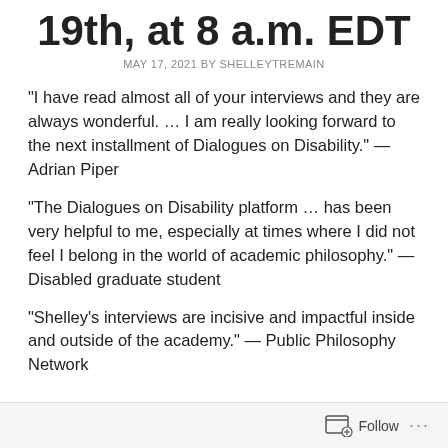19th, at 8 a.m. EDT
MAY 17, 2021 BY SHELLEYTREMAIN
“I have read almost all of your interviews and they are always wonderful. …  I am really looking forward to the next installment of Dialogues on Disability.” — Adrian Piper
“The Dialogues on Disability platform … has been very helpful to me, especially at times where I did not feel I belong in the world of academic philosophy.” — Disabled graduate student
“Shelley’s interviews are incisive and impactful inside and outside of the academy.” — Public Philosophy Network
Follow